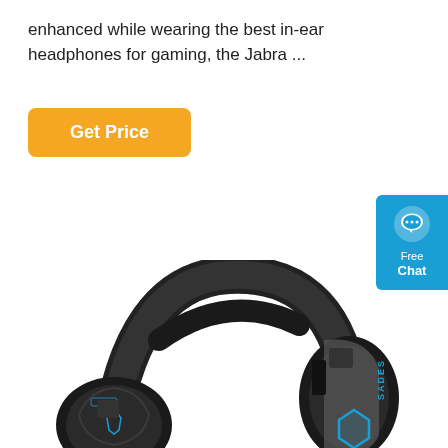enhanced while wearing the best in-ear headphones for gaming, the Jabra ...
[Figure (other): Orange 'Get Price' button]
[Figure (other): Blue 'Free Chat' widget on right edge with chat bubble icon]
[Figure (photo): Black and blue SADES gaming headset/headphones with padded earcups and headband, featuring blue LED accents and SADES branding]